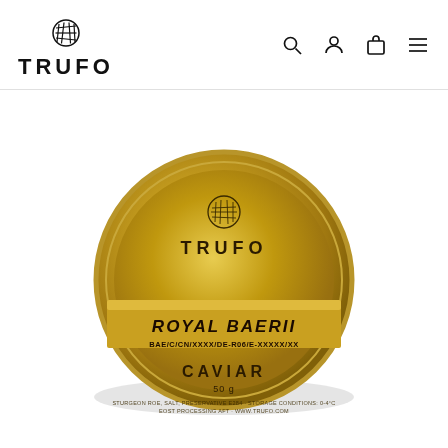TRUFO
[Figure (photo): A round gold caviar tin with the TRUFO logo and text reading ROYAL BAERII, BAE/C/CN/XXXX/DE-R06/E-XXXXX/XX, CAVIAR, 50 g]